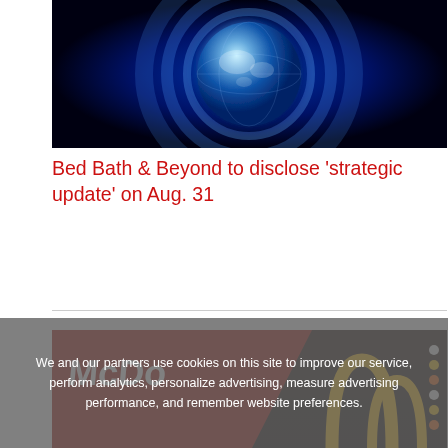[Figure (photo): Blue glowing globe with concentric ring decorations on dark background, news broadcast style]
Bed Bath & Beyond to disclose 'strategic update' on Aug. 31
[Figure (photo): McDonald's illuminated signage at night with golden arches and red signs]
We and our partners use cookies on this site to improve our service, perform analytics, personalize advertising, measure advertising performance, and remember website preferences.